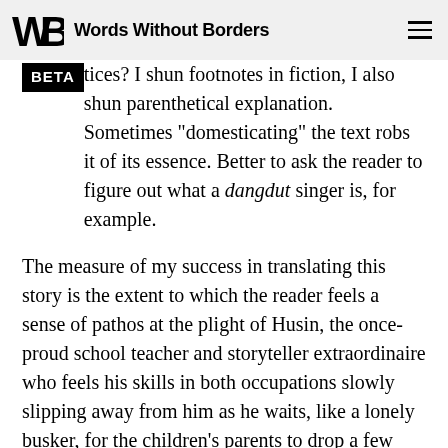Words Without Borders
tices? I shun footnotes in fiction, I also shun parenthetical explanation. Sometimes “domesticating” the text robs it of its essence. Better to ask the reader to figure out what a dangdut singer is, for example.
The measure of my success in translating this story is the extent to which the reader feels a sense of pathos at the plight of Husin, the once-proud school teacher and storyteller extraordinaire who feels his skills in both occupations slowly slipping away from him as he waits, like a lonely busker, for the children’s parents to drop a few coins in his plastic cup.